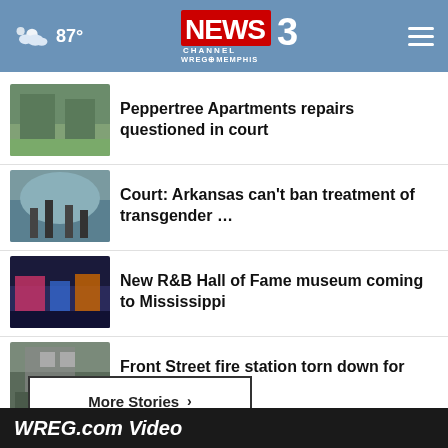87° NEWS CHANNEL 3 WREG MEMPHIS
Peppertree Apartments repairs questioned in court
Court: Arkansas can't ban treatment of transgender …
New R&B Hall of Fame museum coming to Mississippi
Front Street fire station torn down for Brooks Museum
More Stories ›
WREG.com Video